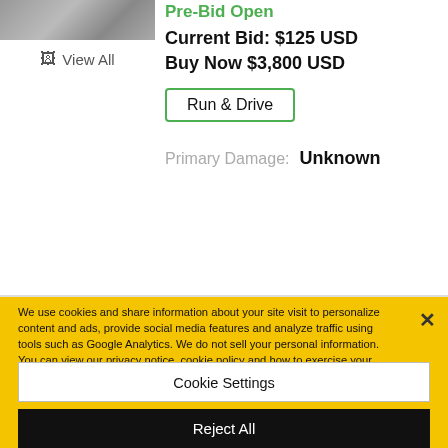[Figure (photo): Partial car photo thumbnail at top left]
View All
Pre-Bid Open
Current Bid: $125 USD
Buy Now $3,800 USD
Run & Drive
Primary Damage:   Unknown
We use cookies and share information about your site visit to personalize content and ads, provide social media features and analyze traffic using tools such as Google Analytics. We do not sell your personal information. You can view our privacy notice, cookie policy and how to exercise your rights by clicking the following link. Privacy Notice
Cookie Settings
Reject All
Accept Cookies